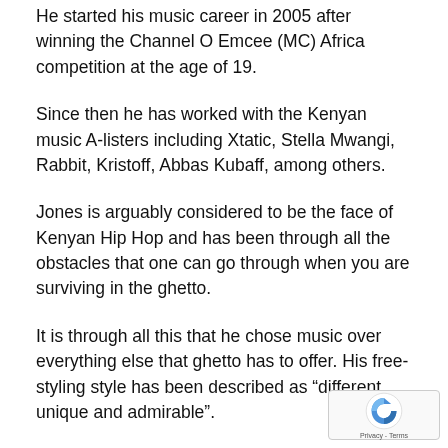He started his music career in 2005 after winning the Channel O Emcee (MC) Africa competition at the age of 19.
Since then he has worked with the Kenyan music A-listers including Xtatic, Stella Mwangi, Rabbit, Kristoff, Abbas Kubaff, among others.
Jones is arguably considered to be the face of Kenyan Hip Hop and has been through all the obstacles that one can go through when you are surviving in the ghetto.
It is through all this that he chose music over everything else that ghetto has to offer. His free-styling style has been described as “different, unique and admirable”.
[Figure (logo): reCAPTCHA badge with Google reCAPTCHA logo and Privacy - Terms text]